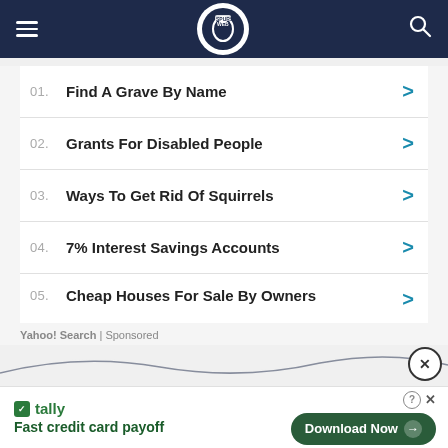The Spurs Web
01. Find A Grave By Name
02. Grants For Disabled People
03. Ways To Get Rid Of Squirrels
04. 7% Interest Savings Accounts
05. Cheap Houses For Sale By Owners
Yahoo! Search | Sponsored
[Figure (other): Tally app advertisement banner with 'Fast credit card payoff' tagline and Download Now button]